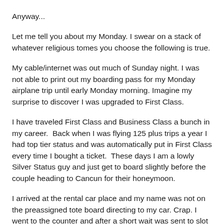Anyway...
Let me tell you about my Monday. I swear on a stack of whatever religious tomes you choose the following is true.
My cable/internet was out much of Sunday night. I was not able to print out my boarding pass for my Monday airplane trip until early Monday morning. Imagine my surprise to discover I was upgraded to First Class.
I have traveled First Class and Business Class a bunch in my career.  Back when I was flying 125 plus trips a year I had top tier status and was automatically put in First Class every time I bought a ticket.  These days I am a lowly Silver Status guy and just get to board slightly before the couple heading to Cancun for their honeymoon.
I arrived at the rental car place and my name was not on the preassigned tote board directing to my car. Crap. I went to the counter and after a short wait was sent to slot number 99. There was an upgraded car — full size, leather, sunroof